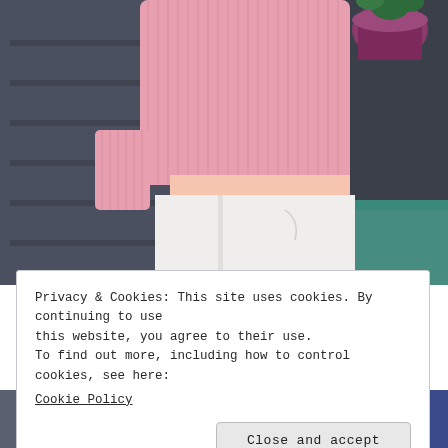[Figure (photo): A person wearing a pink ribbed knit sweater and white trousers, photographed from the torso down, standing on steps with a metal railing. A purple plant pot and teal surface visible in background.]
Privacy & Cookies: This site uses cookies. By continuing to use this website, you agree to their use.
To find out more, including how to control cookies, see here:
Cookie Policy
Close and accept
[Figure (photo): Partial view of the bottom of the image, showing fragments of a person in a pink top and what appears to be a blue object.]